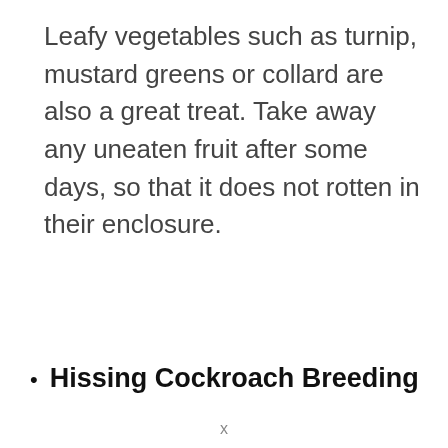Leafy vegetables such as turnip, mustard greens or collard are also a great treat. Take away any uneaten fruit after some days, so that it does not rotten in their enclosure.
Hissing Cockroach Breeding
x